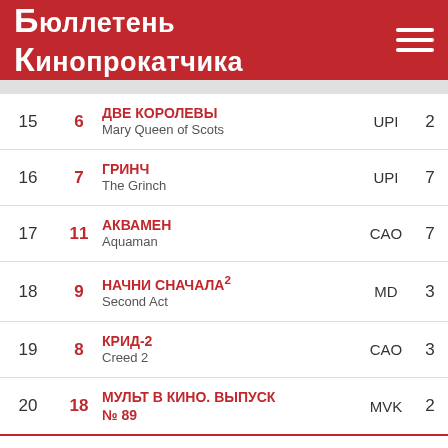Бюллетень Кинопрокатчика
| # | Prev | Title | Dist | Weeks |
| --- | --- | --- | --- | --- |
| 15 | 6 | ДВЕ КОРОЛЕВЫ / Mary Queen of Scots | UPI | 2 |
| 16 | 7 | ГРИНЧ / The Grinch | UPI | 7 |
| 17 | 11 | АКВАМЕН / Aquaman | CAO | 7 |
| 18 | 9 | НАЧНИ СНАЧАЛА² / Second Act | MD | 3 |
| 19 | 8 | КРИД-2 / Creed 2 | CAO | 3 |
| 20 | 18 | МУЛЬТ В КИНО. ВЫПУСК № 89 | MVK | 2 |
ИТОГО ТОП-10:
ИТОГО ТОП-20: